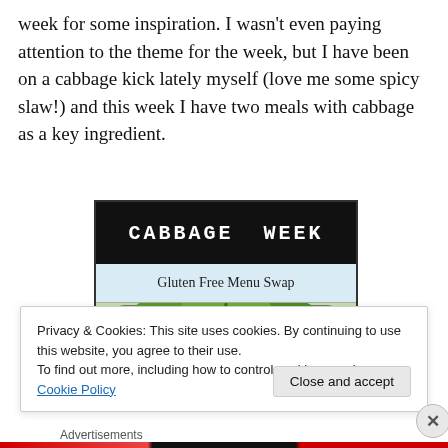week for some inspiration. I wasn't even paying attention to the theme for the week, but I have been on a cabbage kick lately myself (love me some spicy slaw!) and this week I have two meals with cabbage as a key ingredient.
[Figure (illustration): Cabbage Week Gluten Free Menu Swap promotional image with illustrated cabbage leaves on dark background]
Privacy & Cookies: This site uses cookies. By continuing to use this website, you agree to their use.
To find out more, including how to control cookies, see here: Cookie Policy
Close and accept
Advertisements